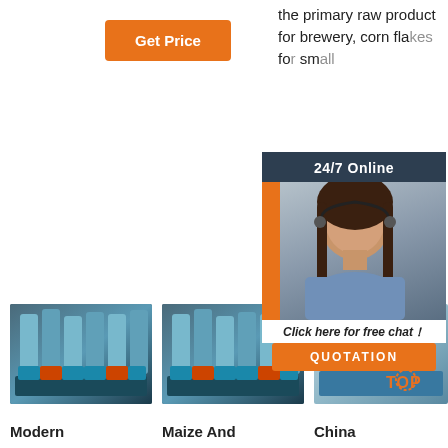[Figure (screenshot): Orange 'Get Price' button in the top left area of a webpage]
the primary raw product for brewery, corn fla... fo... sm...
[Figure (infographic): Live chat widget: '24/7 Online' header with dark blue background, photo of smiling woman with headset, orange vertical bar, 'Click here for free chat!' text, and orange 'QUOTATION' button]
[Figure (photo): Industrial grain milling machine — blue metal equipment in factory]
[Figure (photo): Industrial grain milling machine — Maize And related equipment]
[Figure (photo): Industrial milling machinery — China, with TOP logo overlay]
Modern
Maize And
China